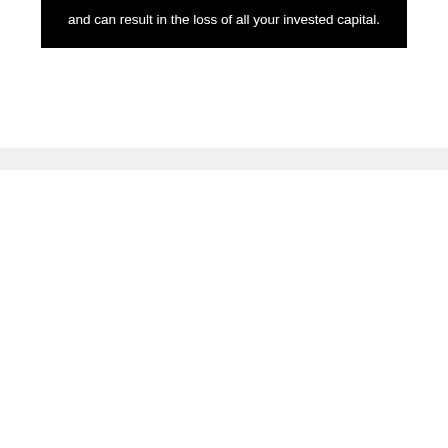and can result in the loss of all your invested capital.